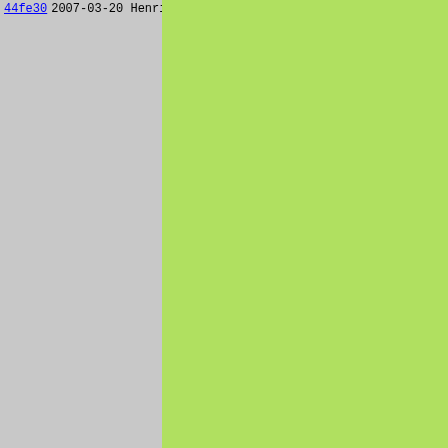44fe30  2007-03-20  Henrik GrubbstrÃ¶m (Grubba)
pop_n_
    push_u
    } else {
    pop_n_
    push_t
    }
}

/*! @decl
 *!
 *!    Chec
 *!    retu
 *!
 *! @retur
 *!    Retu
 *!
 *!    Retu
 */
static voi
{
    struct p
    if (args
    Pike_e
    }
    if (Pike
    Pike_e
    }
    if (!(re
    pop_n_
    push_u
    } else {